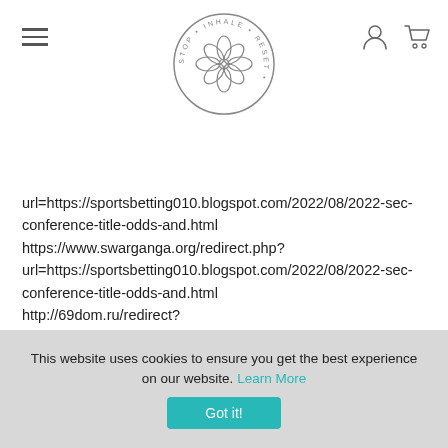Stop Inhale Reset — website header with logo, hamburger menu, account and cart icons
url=https://sportsbetting010.blogspot.com/2022/08/2022-sec-conference-title-odds-and.html https://www.swarganga.org/redirect.php?url=https://sportsbetting010.blogspot.com/2022/08/2022-sec-conference-title-odds-and.html http://69dom.ru/redirect?url=https://sportsbetting010.blogspot.com/2022/08/2022-sec-conference-title-odds-and.html http://www.domodedovo-city.ru/plug.php?e=go&url=https://sportsbetting010.blogspot.com/2022/08/2022-sec-conference-title-odds-and.html
This website uses cookies to ensure you get the best experience on our website. Learn More
Got it!